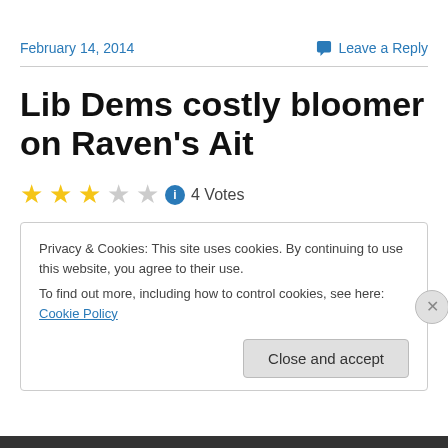February 14, 2014
Leave a Reply
Lib Dems costly bloomer on Raven's Ait
★★★☆☆ ℹ 4 Votes
Privacy & Cookies: This site uses cookies. By continuing to use this website, you agree to their use.
To find out more, including how to control cookies, see here: Cookie Policy